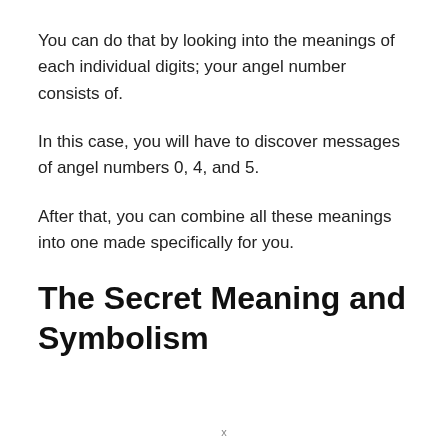You can do that by looking into the meanings of each individual digits; your angel number consists of.
In this case, you will have to discover messages of angel numbers 0, 4, and 5.
After that, you can combine all these meanings into one made specifically for you.
The Secret Meaning and Symbolism
x